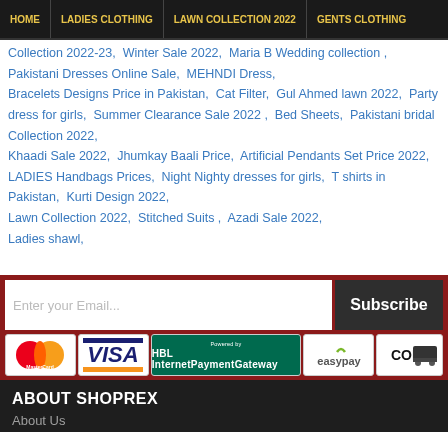HOME | LADIES CLOTHING | LAWN COLLECTION 2022 | GENTS CLOTHING
Collection 2022-23, Winter Sale 2022, Maria B Wedding collection, Pakistani Dresses Online Sale, MEHNDI Dress, Bracelets Designs Price in Pakistan, Cat Filter, Gul Ahmed lawn 2022, Party dress for girls, Summer Clearance Sale 2022, Bed Sheets, Pakistani bridal Collection 2022, Khaadi Sale 2022, Jhumkay Baali Price, Artificial Pendants Set Price 2022, LADIES Handbags Prices, Night Nighty dresses for girls, T shirts in Pakistan, Kurti Design 2022, Lawn Collection 2022, Stitched Suits, Azadi Sale 2022, Ladies shawl,
[Figure (other): Email subscription bar with input field and Subscribe button]
[Figure (other): Payment icons: MasterCard, VISA, HBL Internet Payment Gateway, easypay, COD]
ABOUT SHOPREX
About Us